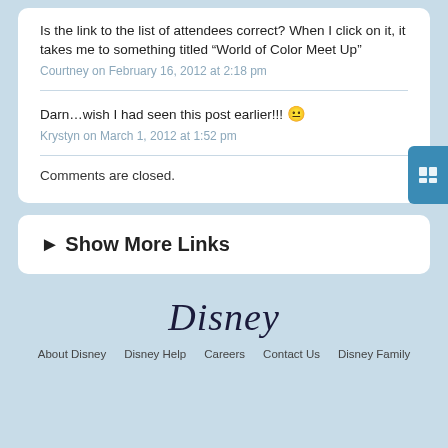Is the link to the list of attendees correct? When I click on it, it takes me to something titled “World of Color Meet Up”
Courtney on February 16, 2012 at 2:18 pm
Darn…wish I had seen this post earlier!!! 😐
Krystyn on March 1, 2012 at 1:52 pm
Comments are closed.
► Show More Links
[Figure (logo): Disney logo in stylized italic script]
About Disney   Disney Help   Careers   Contact Us   Disney Family